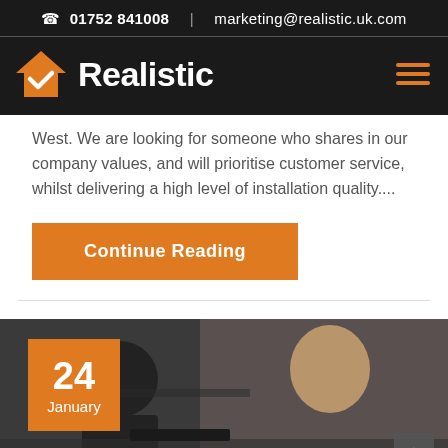01752 841008 | marketing@realistic.uk.com
[Figure (logo): Realistic logo with orange house/checkmark icon and white bold 'Realistic' text on dark background, with hamburger menu icon on right]
West. We are looking for someone who shares in our company values, and will prioritise customer service, whilst delivering a high level of installation quality....
Continue Reading
[Figure (photo): Two people sitting at a table with laptops in a dark/moody workspace, with an orange date badge showing '24 January' overlaid in the bottom-left, and a scroll-up button in the bottom-right]